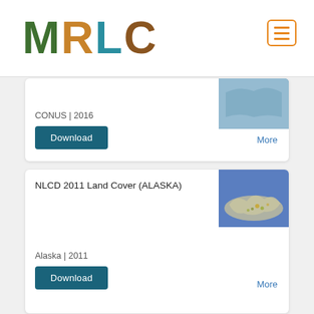MRLC
CONUS | 2016
Download
More
NLCD 2011 Land Cover (ALASKA)
[Figure (map): Map thumbnail of Alaska land cover 2011]
Alaska | 2011
Download
More